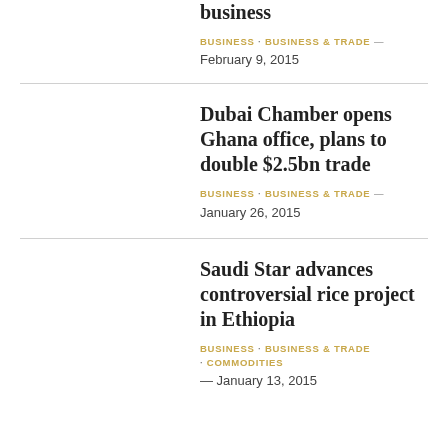business
BUSINESS · BUSINESS & TRADE — February 9, 2015
Dubai Chamber opens Ghana office, plans to double $2.5bn trade
BUSINESS · BUSINESS & TRADE — January 26, 2015
Saudi Star advances controversial rice project in Ethiopia
BUSINESS · BUSINESS & TRADE · COMMODITIES — January 13, 2015